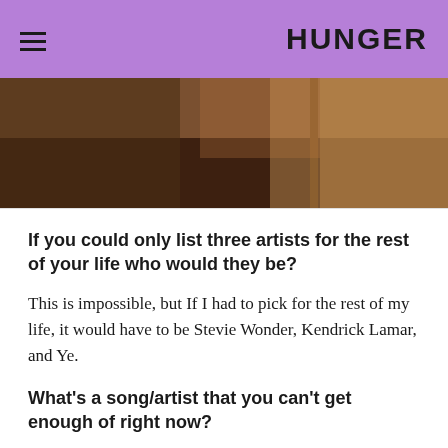HUNGER
[Figure (photo): Partial photo of a person near a wooden window frame with warm brown tones and light filtering through]
If you could only list three artists for the rest of your life who would they be?
This is impossible, but If I had to pick for the rest of my life, it would have to be Stevie Wonder, Kendrick Lamar, and Ye.
What’s a song/artist that you can’t get enough of right now?
Lately, I’ve had “Song Cry,” by Jay-Z and “Love’s in Need of Love Today” by Stevie